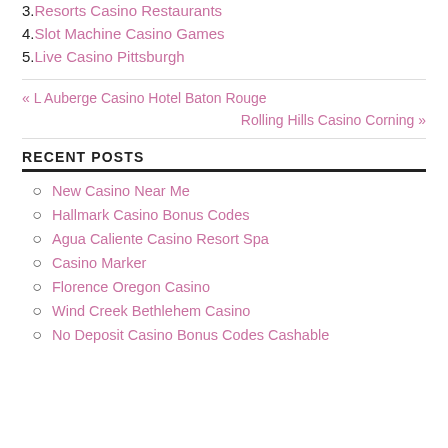3. Resorts Casino Restaurants
4. Slot Machine Casino Games
5. Live Casino Pittsburgh
« L Auberge Casino Hotel Baton Rouge
Rolling Hills Casino Corning »
RECENT POSTS
New Casino Near Me
Hallmark Casino Bonus Codes
Agua Caliente Casino Resort Spa
Casino Marker
Florence Oregon Casino
Wind Creek Bethlehem Casino
No Deposit Casino Bonus Codes Cashable